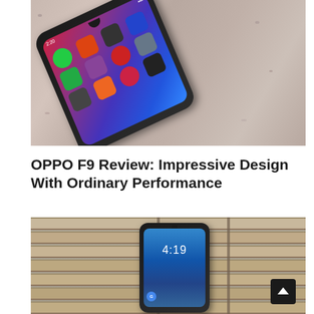[Figure (photo): Top-down photo of OPPO F9 smartphone in red color placed on a granite/stone surface, showing the phone screen with colorful app icons and home screen]
OPPO F9 Review: Impressive Design With Ordinary Performance
[Figure (photo): OPPO F9 smartphone in dark blue/black color placed on a wooden bench, screen showing lock screen with time 4:19 and wave wallpaper. A back-to-top button is visible in the bottom right corner.]